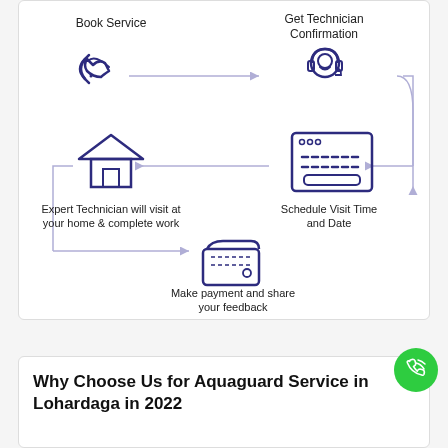[Figure (flowchart): Flowchart showing 4 steps of Aquaguard service: 1) Book Service (phone icon), 2) Get Technician Confirmation (headset icon), 3) Schedule Visit Time and Date (browser/calendar icon), 4) Expert Technician will visit at your home & complete work (house icon), 5) Make payment and share your feedback (wallet icon). Arrows connect the steps in a circular flow.]
Why Choose Us for Aquaguard Service in Lohardaga in 2022